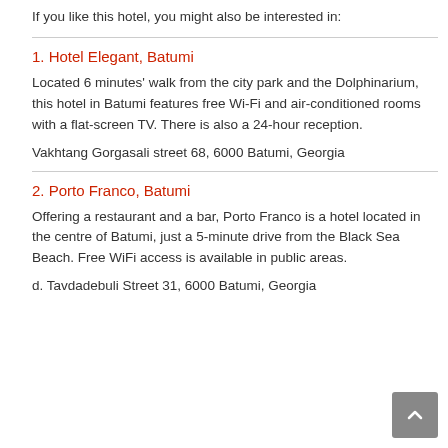If you like this hotel, you might also be interested in:
1. Hotel Elegant, Batumi
Located 6 minutes' walk from the city park and the Dolphinarium, this hotel in Batumi features free Wi-Fi and air-conditioned rooms with a flat-screen TV. There is also a 24-hour reception.
Vakhtang Gorgasali street 68, 6000 Batumi, Georgia
2. Porto Franco, Batumi
Offering a restaurant and a bar, Porto Franco is a hotel located in the centre of Batumi, just a 5-minute drive from the Black Sea Beach. Free WiFi access is available in public areas.
d. Tavdadebuli Street 31, 6000 Batumi, Georgia